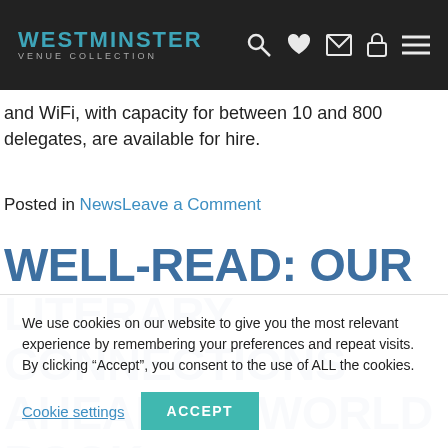WESTMINSTER VENUE COLLECTION
and WiFi, with capacity for between 10 and 800 delegates, are available for hire.
Posted in NewsLeave a Comment
WELL-READ: OUR LITERARY CONNECTIONS AHEAD OF WORLD BOOK
We use cookies on our website to give you the most relevant experience by remembering your preferences and repeat visits. By clicking “Accept”, you consent to the use of ALL the cookies.